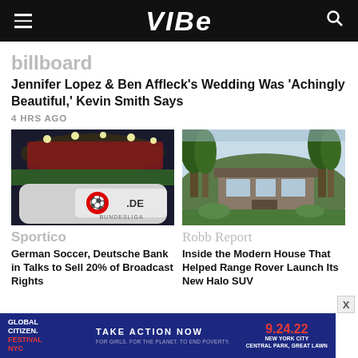VIBE
billboard
Jennifer Lopez & Ben Affleck's Wedding Was 'Achingly Beautiful,' Kevin Smith Says
4 HRS AGO
[Figure (photo): Stadium at night with Bundesliga .de signage on a car in the foreground]
[Figure (photo): Modern house exterior with trees and landscaping]
Sportico
Robb Report
German Soccer, Deutsche Bank in Talks to Sell 20% of Broadcast Rights
Inside the Modern House That Helped Range Rover Launch Its New Halo SUV
Global Citizen Festival NYC TAKE ACTION NOW FOR GIRLS. FOR THE PLANET. TO END POVERTY. 9.24.22 NEW YORK CITY CENTRAL PARK, GREAT LAWN